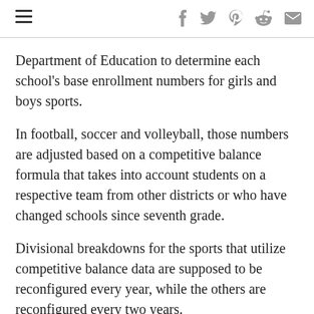Department of Education to determine each school's base enrollment numbers for girls and boys sports.
In football, soccer and volleyball, those numbers are adjusted based on a competitive balance formula that takes into account students on a respective team from other districts or who have changed schools since seventh grade.
Divisional breakdowns for the sports that utilize competitive balance data are supposed to be reconfigured every year, while the others are reconfigured every two years.